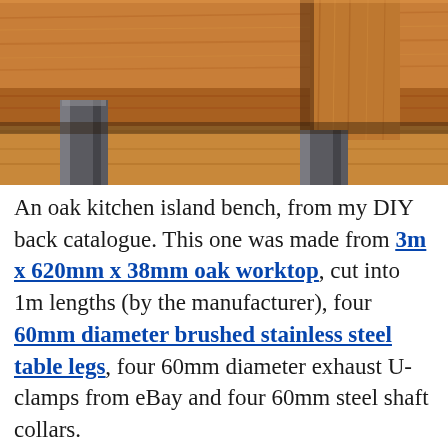[Figure (photo): Close-up photo of an oak kitchen island bench corner showing thick oak worktop with wood grain texture and a brushed stainless steel cylindrical table leg beneath, on a wooden floor background.]
An oak kitchen island bench, from my DIY back catalogue. This one was made from 3m x 620mm x 38mm oak worktop, cut into 1m lengths (by the manufacturer), four 60mm diameter brushed stainless steel table legs, four 60mm diameter exhaust U-clamps from eBay and four 60mm steel shaft collars.